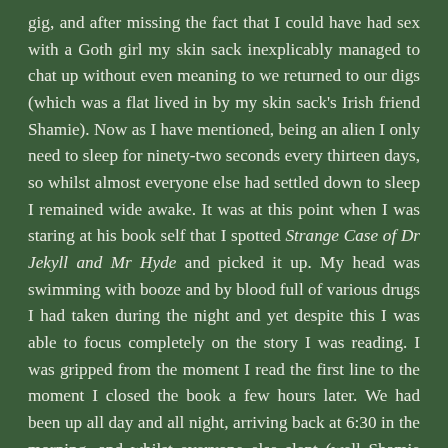gig, and after missing the fact that I could have had sex with a Goth girl my skin sack inexplicably managed to chat up without even meaning to we returned to our digs (which was a flat lived in by my skin sack's Irish friend Shamie). Now as I have mentioned, being an alien I only need to sleep for ninety-two seconds every thirteen days, so whilst almost everyone else had settled down to sleep I remained wide awake. It was at this point when I was staring at his book self that I spotted Strange Case of Dr Jekyll and Mr Hyde and picked it up. My head was swimming with booze and by blood full of various drugs I had taken during the night and yet despite this I was able to focus completely on the story I was reading. I was gripped from the moment I read the first line to the moment I closed the book a few hours later. We had been up all day and all night, arriving back at 6:30 in the morning, and whilst everyone else slept (well Shamie was nailing this earth girl he'd pulled at the same gig I'd pulled the Goth chick) I was so engrossed by the book that I was totally oblivious to those sleeping around me and the creaking bed springs coming from the room next door.